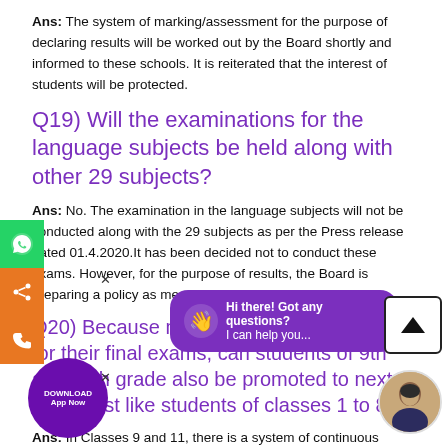Ans: The system of marking/assessment for the purpose of declaring results will be worked out by the Board shortly and informed to these schools. It is reiterated that the interest of students will be protected.
Q19) Will the examinations for the language subjects be held along with other 29 subjects?
Ans: No. The examination in the language subjects will not be conducted along with the 29 subjects as per the Press release dated 01.4.2020.It has been decided not to conduct these exams. However, for the purpose of results, the Board is preparing a policy as mentioned earlier.
Q20) Because many students study only for their final exams, can students of 9th and 11th grade also be promoted to next class, just like students of classes 1 to 8?
Ans: In Classes 9 and 11, there is a system of continuous